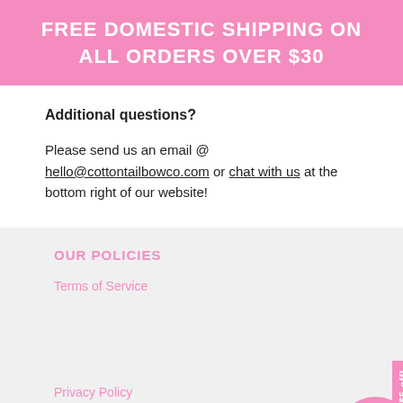FREE DOMESTIC SHIPPING ON ALL ORDERS OVER $30
Additional questions?
Please send us an email @ hello@cottontailbowco.com or chat with us at the bottom right of our website!
OUR POLICIES
Terms of Service
policy
Privacy Policy